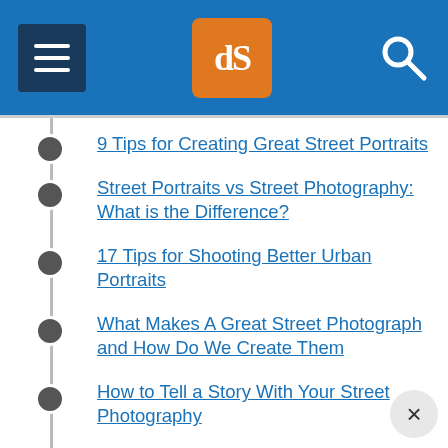dPS navigation header with hamburger menu, dPS logo, and search icon
9 Tips for Creating Great Street Portraits
Street Portraits vs Street Photography: What is the Difference?
17 Tips for Shooting Better Urban Portraits
What Makes A Great Street Photograph and How Do We Create Them
How to Tell a Story With Your Street Photography
In the Dark: 10 Tips for Street Night Photography